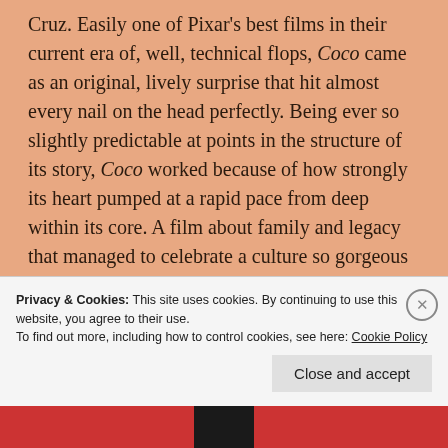Cruz. Easily one of Pixar's best films in their current era of, well, technical flops, Coco came as an original, lively surprise that hit almost every nail on the head perfectly. Being ever so slightly predictable at points in the structure of its story, Coco worked because of how strongly its heart pumped at a rapid pace from deep within its core. A film about family and legacy that managed to celebrate a culture so gorgeous and fascinating, Coco gave a voice to not only the Day of the Dead festival but Mexico in general. Visually stunning and wildly spell-binding, if there's any
Privacy & Cookies: This site uses cookies. By continuing to use this website, you agree to their use.
To find out more, including how to control cookies, see here: Cookie Policy
Close and accept